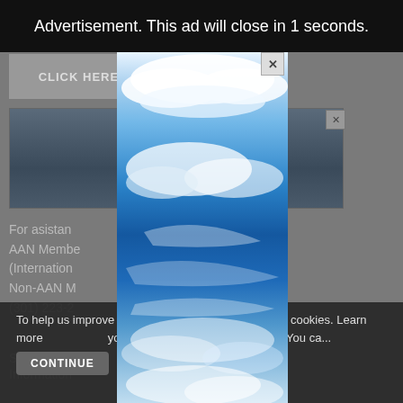Advertisement. This ad will close in 1 seconds.
[Figure (screenshot): Background webpage showing AAN member login area with landscape image, partially obscured by advertisement overlay]
For assistance,
AAN Member ... 928-6000 (International)
Non-AAN M... 3-3030 or (301) 223-2... national)
Sign Up
Information ... ology, and
[Figure (photo): Advertisement popup showing blue sky with white clouds]
To help us improve y... his website uses cookies. Learn more ... your settings in our Cookie Policy. You ca...
CONTINUE
FIND...